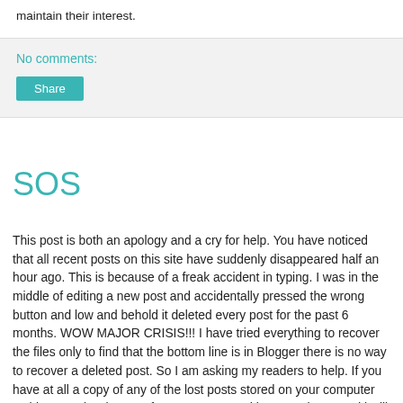maintain their interest.
No comments:
Share
SOS
This post is both an apology and a cry for help. You have noticed that all recent posts on this site have suddenly disappeared half an hour ago. This is because of a freak accident in typing. I was in the middle of editing a new post and accidentally pressed the wrong button and low and behold it deleted every post for the past 6 months. WOW MAJOR CRISIS!!! I have tried everything to recover the files only to find that the bottom line is in Blogger there is no way to recover a deleted post. So I am asking my readers to help. If you have at all a copy of any of the lost posts stored on your computer as history or in whatever form can you send it to me please and i will promise to repost. Bearing in mind the